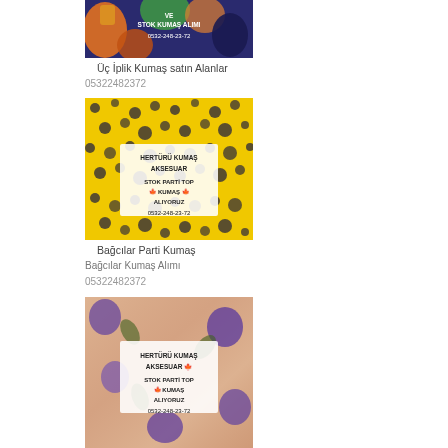[Figure (photo): Colorful patterned fabric with text overlay: VE STOK KUMAŞ ALIMI 0532-248-23-72]
Üç İplik Kumaş satın Alanlar
05322482372
[Figure (photo): Yellow floral fabric with text overlay: HERTÜRÜ KUMAŞ AKSESUAR STOK PARTİ TOP KUMAŞ ALIYORUZ 0532-248-23-72]
Bağcılar Parti Kumaş
Bağcılar Kumaş Alımı
05322482372
[Figure (photo): Floral satin fabric with text overlay: HERTÜRÜ KUMAŞ AKSESUAR STOK PARTİ TOP KUMAŞ ALIYORUZ 0532-248-23-72]